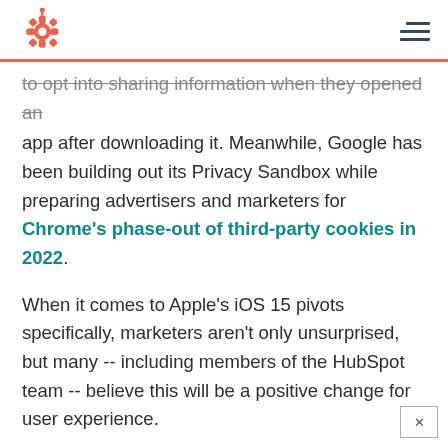HubSpot logo and navigation menu
to opt into sharing information when they opened an app after downloading it. Meanwhile, Google has been building out its Privacy Sandbox while preparing advertisers and marketers for Chrome's phase-out of third-party cookies in 2022.
When it comes to Apple's iOS 15 pivots specifically, marketers aren't only unsurprised, but many -- including members of the HubSpot team -- believe this will be a positive change for user experience.
“From its inception, HubSpot has been relentlessly focused on helping businesses match the way they market and sell to the way people want to shop and buy. [continues] inbo[x...]